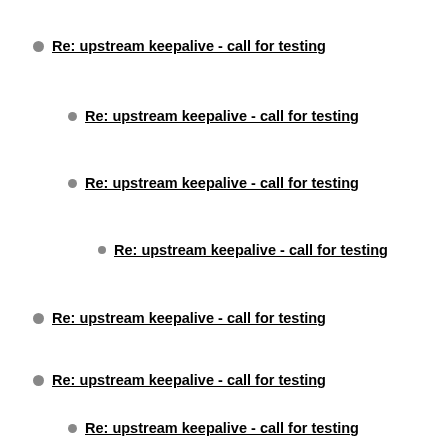Re: upstream keepalive - call for testing
Re: upstream keepalive - call for testing
Re: upstream keepalive - call for testing
Re: upstream keepalive - call for testing
Re: upstream keepalive - call for testing
Re: upstream keepalive - call for testing
Re: upstream keepalive - call for testing